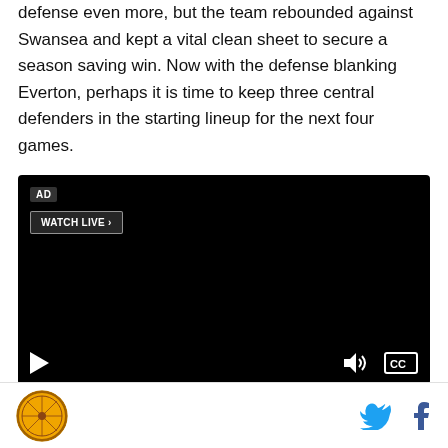defense even more, but the team rebounded against Swansea and kept a vital clean sheet to secure a season saving win. Now with the defense blanking Everton, perhaps it is time to keep three central defenders in the starting lineup for the next four games.
[Figure (other): Black video player with AD badge, WATCH LIVE button, play button, volume icon, and CC button]
[Figure (logo): Circular organization logo at bottom left footer]